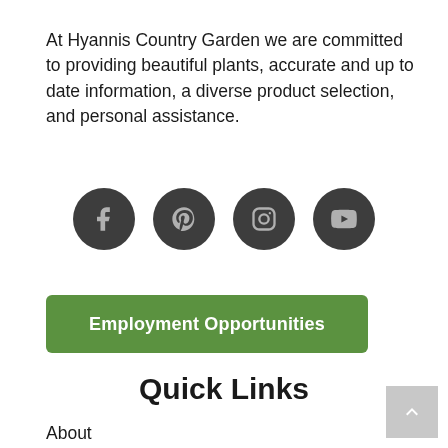At Hyannis Country Garden we are committed to providing beautiful plants, accurate and up to date information, a diverse product selection, and personal assistance.
[Figure (illustration): Four dark circular social media icons in a row: Facebook (f), Pinterest (p), Instagram (camera), YouTube (play button)]
Employment Opportunities
Quick Links
About